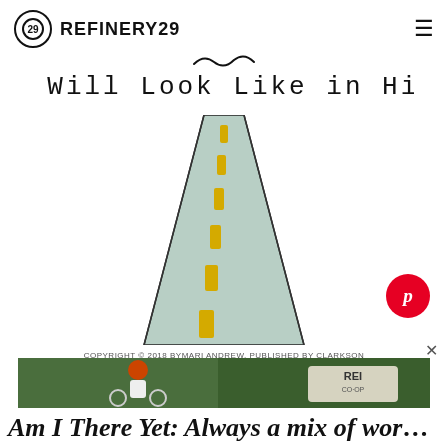REFINERY29
What it Will Look Like in Hindsight
[Figure (illustration): Watercolor illustration of a road receding into the distance, with yellow dashed center lines, viewed from slightly above, rendered in a loose hand-drawn style with pale blue-grey road color.]
[Figure (logo): Pinterest button - red circle with white 'p' script logo]
COPYRIGHT © 2018 BYMARI ANDREW. PUBLISHED BY CLARKSON
[Figure (photo): Advertisement banner showing a person riding a bike with a red helmet in a forest setting, with REI CO-OP logo visible]
Am I There Yet: Always a mix of work and